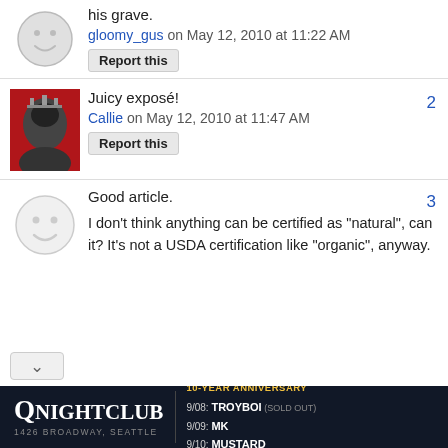his grave.
gloomy_gus on May 12, 2010 at 11:22 AM
Report this
Juicy exposé!
Callie on May 12, 2010 at 11:47 AM
Report this
Good article.
I don't think anything can be certified as "natural", can it? It's not a USDA certification like "organic", anyway.
[Figure (infographic): QNightClub advertisement banner: 10-Year Anniversary, 9/08 TROYBOI (SOLD OUT), 9/09 MK, 9/10 MUSTARD, 1426 Broadway Seattle]